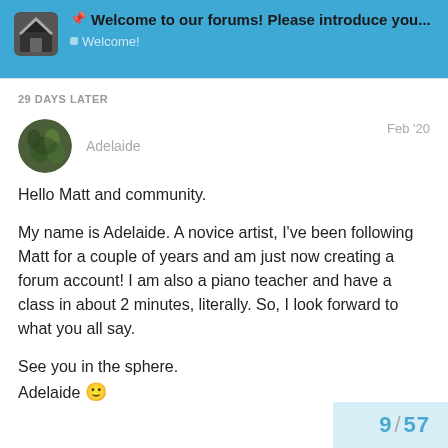Welcome to our forums! Please introduce you... Welcome!
29 DAYS LATER
Adelaide   Feb '20
Hello Matt and community.

My name is Adelaide. A novice artist, I've been following Matt for a couple of years and am just now creating a forum account! I am also a piano teacher and have a class in about 2 minutes, literally. So, I look forward to what you all say.

See you in the sphere.
Adelaide 🙂
9 / 57